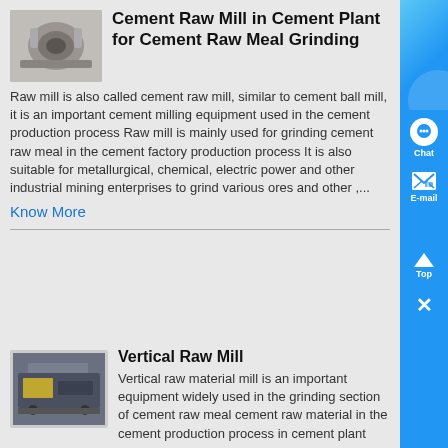[Figure (photo): Cement raw mill machinery photo thumbnail]
Cement Raw Mill in Cement Plant for Cement Raw Meal Grinding
Raw mill is also called cement raw mill, similar to cement ball mill, it is an important cement milling equipment used in the cement production process Raw mill is mainly used for grinding cement raw meal in the cement factory production process It is also suitable for metallurgical, chemical, electric power and other industrial mining enterprises to grind various ores and other ,...
Know More
[Figure (photo): Vertical raw mill machinery photo thumbnail]
Vertical Raw Mill
Vertical raw material mill is an important equipment widely used in the grinding section of cement raw meal cement raw material in the cement production process in cement plant